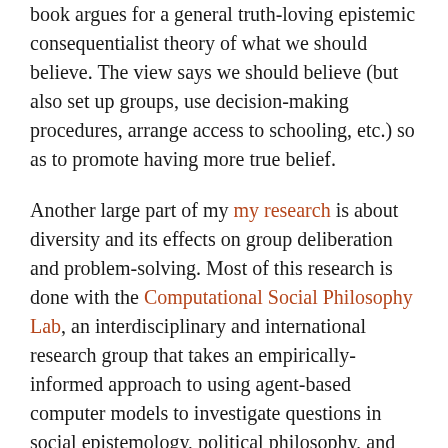book argues for a general truth-loving epistemic consequentialist theory of what we should believe. The view says we should believe (but also set up groups, use decision-making procedures, arrange access to schooling, etc.) so as to promote having more true belief.
Another large part of my my research is about diversity and its effects on group deliberation and problem-solving. Most of this research is done with the Computational Social Philosophy Lab, an interdisciplinary and international research group that takes an empirically-informed approach to using agent-based computer models to investigate questions in social epistemology, political philosophy, and philosophy of science. Most of the group's work focuses on topics like diversity and polarization in groups, the nature of expertise, how the structure of groups (like scientific lab groups) affects what information the group receives, how democracies can improve or hinder information flow, and how groups like juries can be better constructed to achieve their